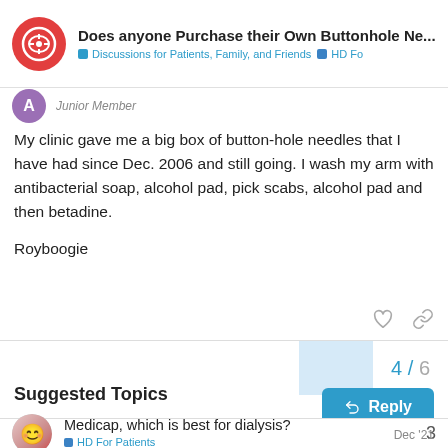Does anyone Purchase their Own Buttonhole Ne... | Discussions for Patients, Family, and Friends | HD Fo
Junior Member
My clinic gave me a big box of button-hole needles that I have had since Dec. 2006 and still going. I wash my arm with antibacterial soap, alcohol pad, pick scabs, alcohol pad and then betadine.

Royboogie
4 / 6
Reply
Suggested Topics
Medicap, which is best for dialysis? | HD For Patients | Dec '21 | 3